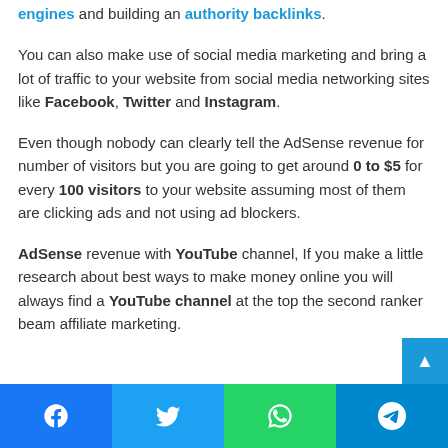engines and building an authority backlinks.
You can also make use of social media marketing and bring a lot of traffic to your website from social media networking sites like Facebook, Twitter and Instagram.
Even though nobody can clearly tell the AdSense revenue for number of visitors but you are going to get around 0 to $5 for every 100 visitors to your website assuming most of them are clicking ads and not using ad blockers.
AdSense revenue with YouTube channel, If you make a little research about best ways to make money online you will always find a YouTube channel at the top the second ranker beam affiliate marketing.